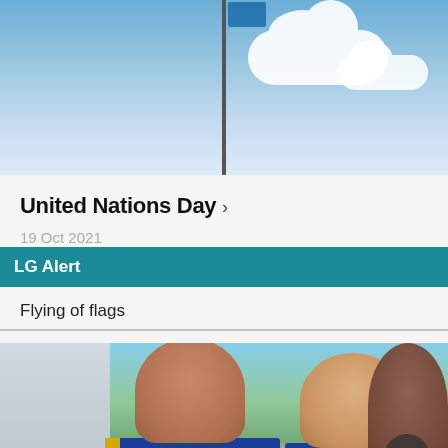[Figure (photo): Outdoor photo showing a flagpole with a flag against a blue sky with white clouds]
United Nations Day >
19 Oct 2021
LG Alert
Flying of flags
[Figure (photo): Three smiling girls in blue and yellow sports uniforms outdoors]